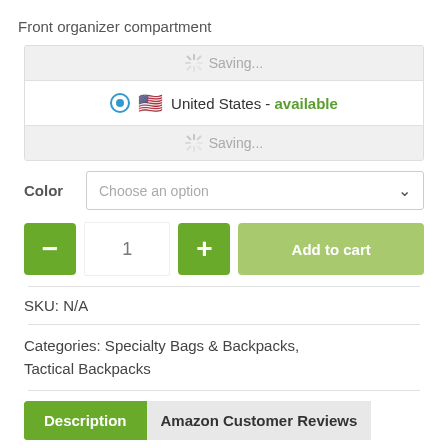Front organizer compartment
[Figure (screenshot): Shipping availability widget showing two 'Saving...' loading rows with a spinner icon, and a middle row with a radio button selected, US flag emoji, and text 'United States - available' in green]
Color   Choose an option
[Figure (screenshot): Quantity selector with minus button, quantity 1, plus button, and Add to cart button]
SKU: N/A
Categories: Specialty Bags & Backpacks, Tactical Backpacks
Description   Amazon Customer Reviews